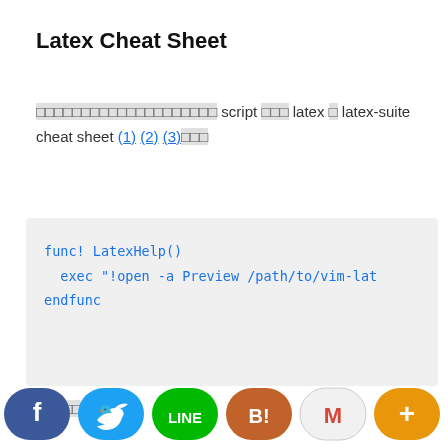Latex Cheat Sheet
□□□□□□□□□□□□□□□□□□□□ script □□□ latex □ latex-suite cheat sheet (1) (2) (3)□□□
func! LatexHelp()
  exec "!open -a Preview /path/to/vim-lat
endfunc
□□□□□
[Figure (infographic): Social sharing buttons row: Facebook, Twitter, LINE, Hatena, Gmail, More(+)]